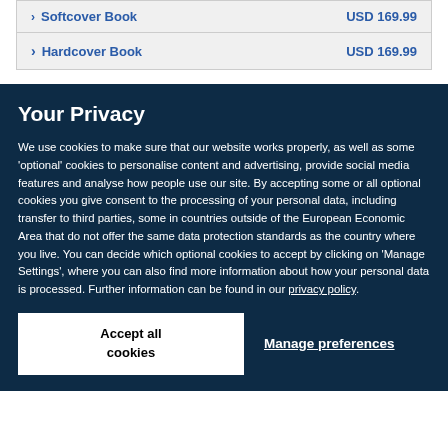Softcover Book  USD 169.99
Hardcover Book  USD 169.99
Your Privacy
We use cookies to make sure that our website works properly, as well as some 'optional' cookies to personalise content and advertising, provide social media features and analyse how people use our site. By accepting some or all optional cookies you give consent to the processing of your personal data, including transfer to third parties, some in countries outside of the European Economic Area that do not offer the same data protection standards as the country where you live. You can decide which optional cookies to accept by clicking on 'Manage Settings', where you can also find more information about how your personal data is processed. Further information can be found in our privacy policy.
Accept all cookies
Manage preferences